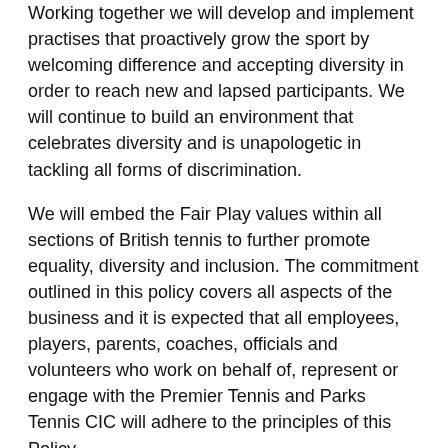Working together we will develop and implement practises that proactively grow the sport by welcoming difference and accepting diversity in order to reach new and lapsed participants. We will continue to build an environment that celebrates diversity and is unapologetic in tackling all forms of discrimination.
We will embed the Fair Play values within all sections of British tennis to further promote equality, diversity and inclusion. The commitment outlined in this policy covers all aspects of the business and it is expected that all employees, players, parents, coaches, officials and volunteers who work on behalf of, represent or engage with the Premier Tennis and Parks Tennis CIC will adhere to the principles of this Policy.
Our responsibilities
As an employer, Premier tennis and Parks Tennis CIC...